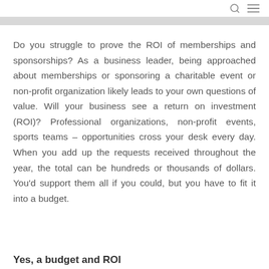[Figure (other): Navigation bar banner with search and menu icons]
Do you struggle to prove the ROI of memberships and sponsorships? As a business leader, being approached about memberships or sponsoring a charitable event or non-profit organization likely leads to your own questions of value. Will your business see a return on investment (ROI)? Professional organizations, non-profit events, sports teams – opportunities cross your desk every day. When you add up the requests received throughout the year, the total can be hundreds or thousands of dollars. You'd support them all if you could, but you have to fit it into a budget.
Yes, a budget and ROI